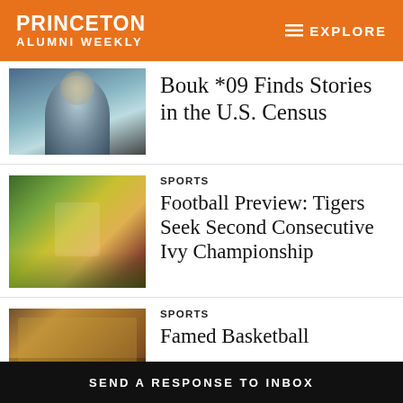PRINCETON ALUMNI WEEKLY — EXPLORE
[Figure (photo): Headshot photo of a person, partially visible, close-up portrait]
Bouk *09 Finds Stories in the U.S. Census
[Figure (photo): Sports action photo of football game on a field with crowd in background]
SPORTS
Football Preview: Tigers Seek Second Consecutive Ivy Championship
[Figure (photo): Basketball players huddled together, team in gold/green uniforms]
SPORTS
Famed Basketball
SEND A RESPONSE TO INBOX